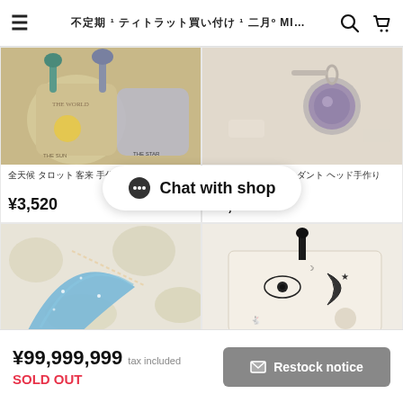≡  ????? ? ????????????? ? ??? MI...  🔍  🛒
[Figure (photo): Tarot card pouches with tassels — THE WORLD, THE SUN, THE STAR printed on fabric bags]
?? ???? ????? ??? ?? ????? ??
¥3,520
[Figure (photo): Silver pendant jewelry with purple amethyst gemstone on white wicker background]
????? silver ???? ??????????...
¥5,500
[Figure (photo): Blue celestial moon pouch/purse with stars on floral fabric background]
[Figure (photo): Cream canvas pouch with black tarot illustration — eye, moon, star motifs with black tassel]
[Figure (other): Chat with shop button overlay]
¥99,999,999 tax included  SOLD OUT  [Restock notice button]